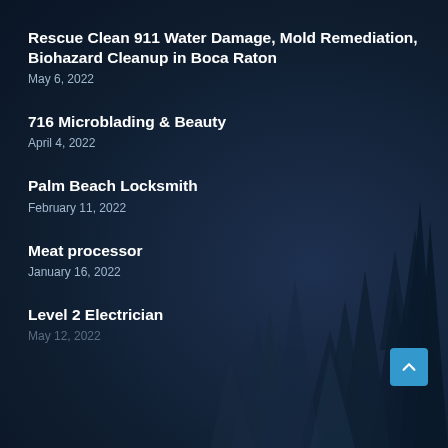Rescue Clean 911 Water Damage, Mold Remediation, Biohazard Cleanup in Boca Raton
May 6, 2022
716 Microblading & Beauty
April 4, 2022
Palm Beach Locksmith
February 11, 2022
Meat processor
January 16, 2022
Level 2 Electrician
May 12, 2022